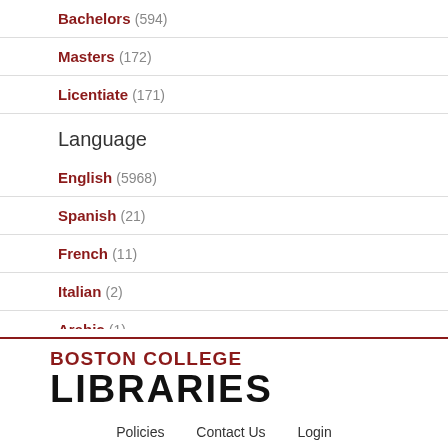Bachelors (594)
Masters (172)
Licentiate (171)
Language
English (5968)
Spanish (21)
French (11)
Italian (2)
Arabic (1)
German (1)
Show more
[Figure (logo): Boston College Libraries logo]
Policies   Contact Us   Login